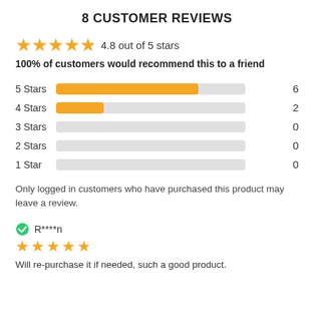8 CUSTOMER REVIEWS
[Figure (other): Star rating display: 4 full stars plus a partial star, showing 4.8 out of 5 stars]
4.8 out of 5 stars
100% of customers would recommend this to a friend
[Figure (bar-chart): Star rating distribution]
Only logged in customers who have purchased this product may leave a review.
R****n
[Figure (other): 5 star rating for review by R****n]
Will re-purchase it if needed, such a good product.